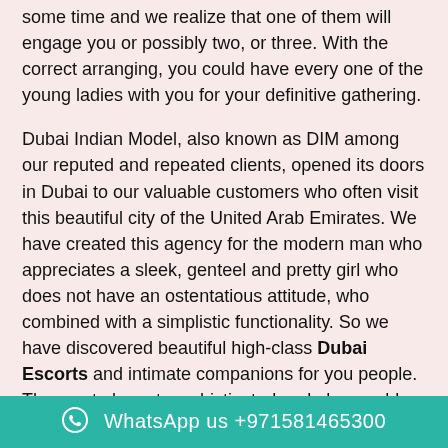some time and we realize that one of them will engage you or possibly two, or three. With the correct arranging, you could have every one of the young ladies with you for your definitive gathering.
Dubai Indian Model, also known as DIM among our reputed and repeated clients, opened its doors in Dubai to our valuable customers who often visit this beautiful city of the United Arab Emirates. We have created this agency for the modern man who appreciates a sleek, genteel and pretty girl who does not have an ostentatious attitude, who combined with a simplistic functionality. So we have discovered beautiful high-class Dubai Escorts and intimate companions for you people. The most elegant, sophisticated and pleasurable service provider in Dubai. Our aim is to arrange a safe and sensible meeting with our Indian Escorts in Dubai, you will surely melt in their love. Hence, we ensure we recruit intelligent girls who are proficient in ... serving our ...
WhatsApp us +971581465300